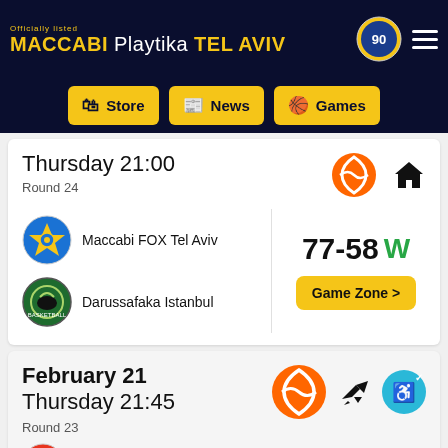Officially listed MACCABI Playtika TEL AVIV
Store | News | Games
Thursday 21:00
Round 24
Maccabi FOX Tel Aviv vs Darussafaka Istanbul
77-58 W
Game Zone >
February 21
Thursday 21:45
Round 23